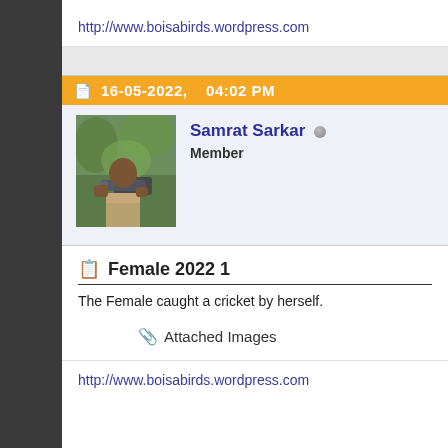http://www.boisabirds.wordpress.com
16-05-2022,   04:02 PM
[Figure (photo): Profile photo of Samrat Sarkar holding a large camera lens on a tripod in a green outdoor setting]
Samrat Sarkar  Member
Female 2022 1
The Female caught a cricket by herself.
Attached Images
http://www.boisabirds.wordpress.com